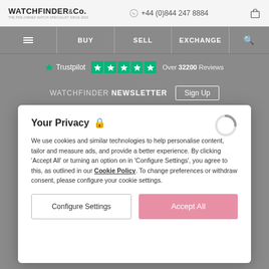WATCHFINDER & Co. THE PRE-OWNED WATCH SPECIALIST SINCE 2002 | +44 (0)844 247 8884
[Figure (screenshot): Navigation bar with hamburger menu, BUY, SELL, EXCHANGE links and search icon on grey background]
[Figure (screenshot): Trustpilot rating bar showing 5 green stars and Over 32200 Reviews]
WATCHFINDER NEWSLETTER Sign Up
Your Privacy
We use cookies and similar technologies to help personalise content, tailor and measure ads, and provide a better experience. By clicking ‘Accept All’ or turning an option on in ‘Configure Settings’, you agree to this, as outlined in our Cookie Policy. To change preferences or withdraw consent, please configure your cookie settings.
Configure Settings
Accept All